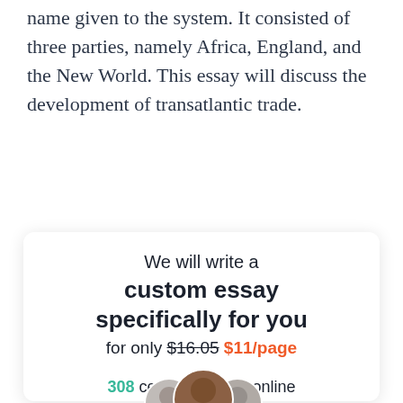name given to the system. It consisted of three parties, namely Africa, England, and the New World. This essay will discuss the development of transatlantic trade.
[Figure (infographic): Promotional card with text 'We will write a custom essay specifically for you for only $16.05 $11/page', avatars of writers, '308 certified writers online', and an orange button.]